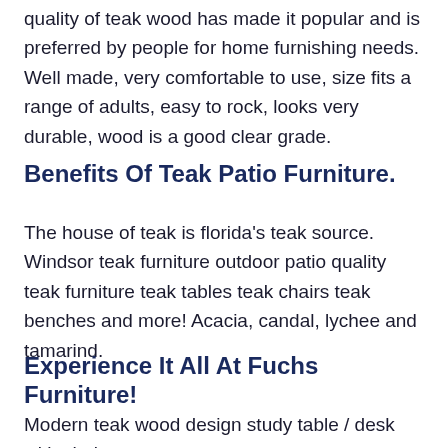quality of teak wood has made it popular and is preferred by people for home furnishing needs. Well made, very comfortable to use, size fits a range of adults, easy to rock, looks very durable, wood is a good clear grade.
Benefits Of Teak Patio Furniture.
The house of teak is florida's teak source. Windsor teak furniture outdoor patio quality teak furniture teak tables teak chairs teak benches and more! Acacia, candal, lychee and tamarind.
Experience It All At Fuchs Furniture!
Modern teak wood design study table / desk with chair.